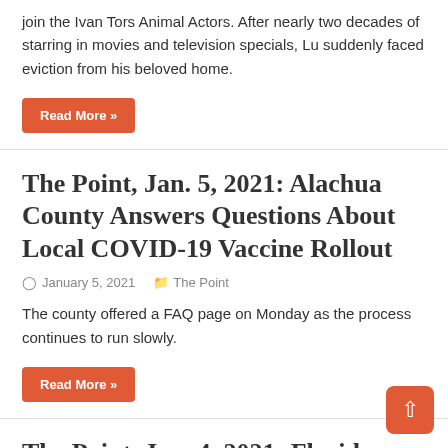join the Ivan Tors Animal Actors. After nearly two decades of starring in movies and television specials, Lu suddenly faced eviction from his beloved home.
Read More »
The Point, Jan. 5, 2021: Alachua County Answers Questions About Local COVID-19 Vaccine Rollout
January 5, 2021   The Point
The county offered a FAQ page on Monday as the process continues to run slowly.
Read More »
The Point, Jan. 4, 2021: Florida Health Officials Expect COVID-19 Case Spike After Holidays